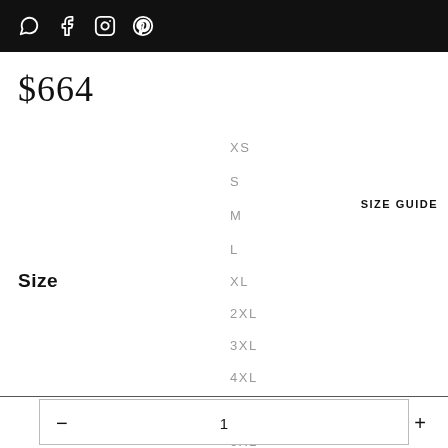[social icons: WhatsApp, Facebook, Instagram, Pinterest]
$664
SIZE GUIDE
Size
XS
S
M
L
XL
2XL
3XL
4XL
5XL
6XL
— 1 +